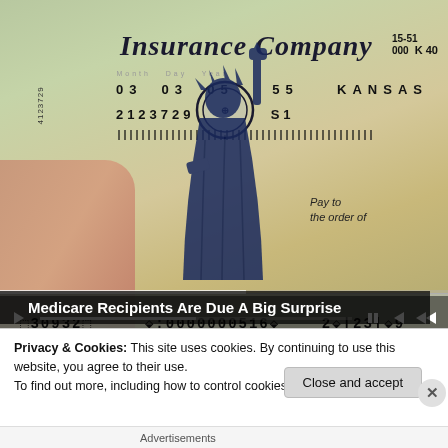[Figure (photo): A hand holding a check from 'Insurance Company' with Statue of Liberty watermark/illustration. Check shows date 03 03 05, ID 55, state KANSAS, number 2123729, S1. Bottom MICR line reads: 30932, :0000000516, 2|23|29. Video player controls overlay visible at bottom of image.]
Medicare Recipients Are Due A Big Surprise
Privacy & Cookies: This site uses cookies. By continuing to use this website, you agree to their use.
To find out more, including how to control cookies, see here: Cookie Policy
Close and accept
Advertisements